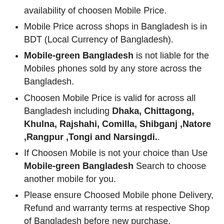availability of choosen Mobile Price.
Mobile Price across shops in Bangladesh is in BDT (Local Currency of Bangladesh).
Mobile-green Bangladesh is not liable for the Mobiles phones sold by any store across the Bangladesh.
Choosen Mobile Price is valid for across all Bangladesh including Dhaka, Chittagong, Khulna, Rajshahi, Comilla, Shibganj ,Natore ,Rangpur ,Tongi and Narsingdi..
If Choosen Mobile is not your choice than Use Mobile-green Bangladesh Search to choose another mobile for you.
Please ensure Choosed Mobile phone Delivery, Refund and warranty terms at respective Shop of Bangladesh before new purchase.
For any incorect information of choosen Mobile Phone, please immediately report on info@mobile-groon.com for corrections.